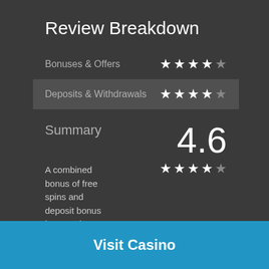Review Breakdown
Bonuses & Offers — ★★★★½
Deposits & Withdrawals — ★★★★½
Summary
4.6
A combined bonus of free spins and deposit bonus is a good reason to be interested in Yukon Gold Casino, a good reason to become an online gold seeker !
★★★★½
Visit Casino